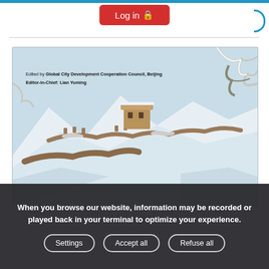[Figure (screenshot): Website screenshot showing a Log in button at the top, a horizontal divider, a book cover image of the Great Wall of China covered in snow with text overlay reading 'Edited by Global City Development Cooperation Council, Beijing' and 'Editor-in-Chief: Lian Yuming', and a cookie consent banner at the bottom with Settings, Accept all, and Refuse all buttons.]
When you browse our website, information may be recorded or played back in your terminal to optimize your experience.
Settings
Accept all
Refuse all